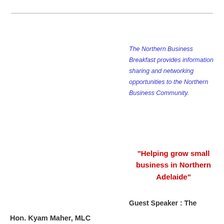The Northern Business Breakfast provides information sharing and networking opportunities to the Northern Business Community.
“Helping grow small business in Northern Adelaide”
Guest Speaker :  The Hon. Kyam Maher, MLC